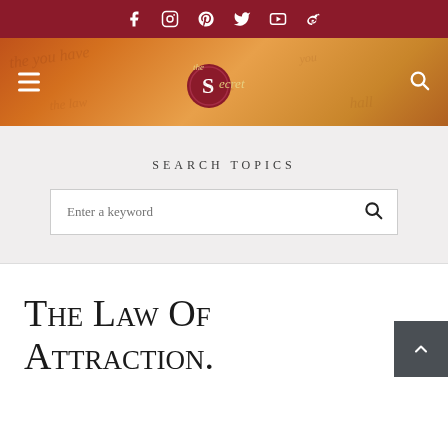Social icons: Facebook, Instagram, Pinterest, Twitter, YouTube, Weibo
[Figure (logo): The Secret website header banner with logo on warm orange/brown textured background with handwritten script, hamburger menu icon on left, search icon on right]
Search Topics
Enter a keyword
The Law Of Attraction.